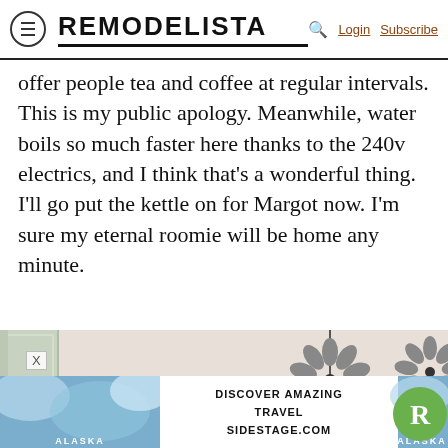REMODELISTA — Login Subscribe
offer people tea and coffee at regular intervals. This is my public apology. Meanwhile, water boils so much faster here thanks to the 240v electrics, and I think that's a wonderful thing. I'll go put the kettle on for Margot now. I'm sure my eternal roomie will be home any minute.
[Figure (photo): Interior ceiling photo showing decorative flower-shaped ceiling light fixtures against a white ceiling, with a white-painted wooden cabinet/wardrobe visible on the left side. Photo is partially cut off at bottom.]
[Figure (infographic): Advertisement banner: 'DISCOVER AMAZING TRAVEL SIDESTAGE.COM' with Alaska travel imagery on both sides and green Remodelista R logo in bottom right. Close X button on left.]